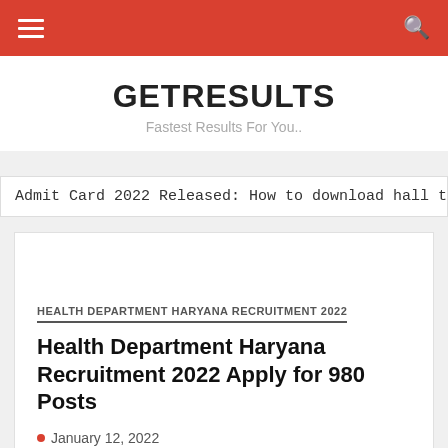GETRESULTS — Fastest Results For You..
Admit Card 2022 Released: How to download hall tickets
HEALTH DEPARTMENT HARYANA RECRUITMENT 2022
Health Department Haryana Recruitment 2022 Apply for 980 Posts
January 12, 2022